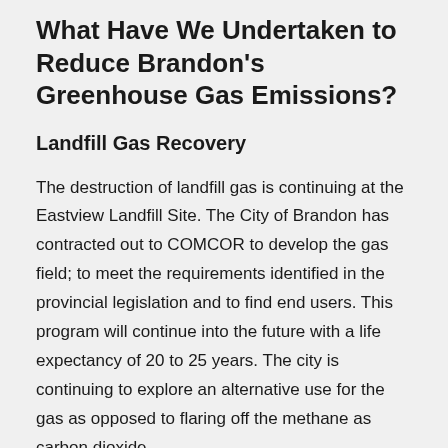What Have We Undertaken to Reduce Brandon's Greenhouse Gas Emissions?
Landfill Gas Recovery
The destruction of landfill gas is continuing at the Eastview Landfill Site. The City of Brandon has contracted out to COMCOR to develop the gas field; to meet the requirements identified in the provincial legislation and to find end users. This program will continue into the future with a life expectancy of 20 to 25 years. The city is continuing to explore an alternative use for the gas as opposed to flaring off the methane as carbon dioxide.